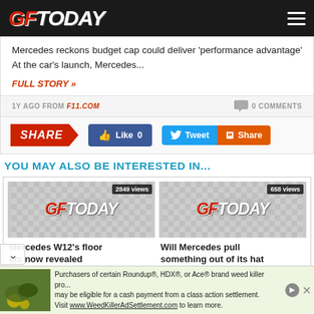GFToday
Mercedes reckons budget cap could deliver 'performance advantage' At the car's launch, Mercedes...
FULL STORY »
1Y AGO FROM F11.COM   0 COMMENTS
SHARE  Like 0  Tweet  Share
YOU MAY ALSO BE INTERESTED IN...
[Figure (screenshot): GFToday logo placeholder image with '2849 views' badge]
Mercedes W12's floor ets now revealed
[Figure (screenshot): GFToday logo placeholder image with '658 views' badge]
Will Mercedes pull something out of its hat
Purchasers of certain Roundup®, HDX®, or Ace® brand weed killer pro... may be eligible for a cash payment from a class action settlement. Visit www.WeedKillerAdSettlement.com to learn more.